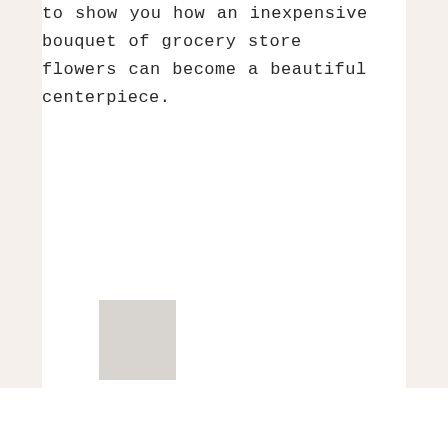to show you how an inexpensive bouquet of grocery store flowers can become a beautiful centerpiece.
[Figure (photo): Partial image visible at bottom left of page, appears to be a light grey/white rectangle, likely a photo being cut off at the page boundary.]